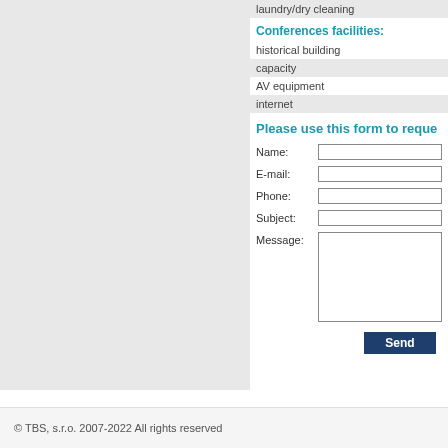laundry/dry cleaning
Conferences facilities:
historical building
capacity
AV equipment
internet
Please use this form to reque...
Name:
E-mail:
Phone:
Subject:
Message:
© TBS, s.r.o. 2007-2022 All rights reserved